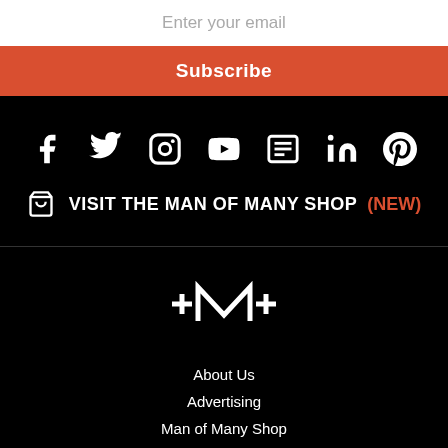Enter your email
Subscribe
[Figure (infographic): Social media icons row: Facebook, Twitter, Instagram, YouTube, Google News, LinkedIn, Pinterest]
VISIT THE MAN OF MANY SHOP (NEW)
[Figure (logo): Man of Many logo — stylized +M+ mark in white]
About Us
Advertising
Man of Many Shop